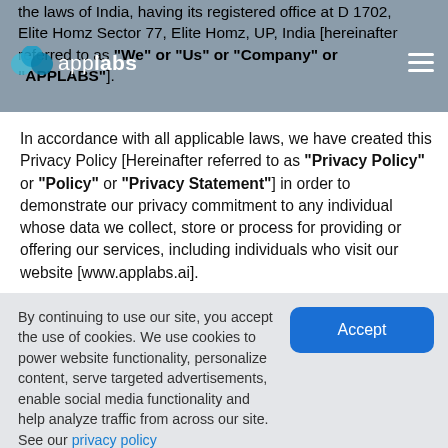the laws of India, having its registered office at D 1702, Elite Homz Sector 77, Elite Homz, UP, India [hereinafter referred to as "We" or "Us" or "Company" or "APPLABS"].
In accordance with all applicable laws, we have created this Privacy Policy [Hereinafter referred to as "Privacy Policy" or "Policy" or "Privacy Statement"] in order to demonstrate our privacy commitment to any individual whose data we collect, store or process for providing or offering our services, including individuals who visit our website [www.applabs.ai].
This Privacy Policy will primarily help you understand:
The types of information we collect from...
By continuing to use our site, you accept the use of cookies. We use cookies to power website functionality, personalize content, serve targeted advertisements, enable social media functionality and help analyze traffic from across our site. See our privacy policy